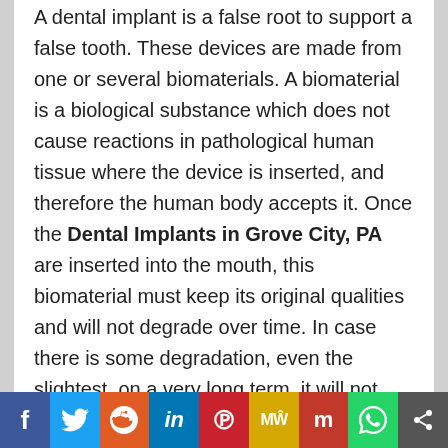A dental implant is a false root to support a false tooth. These devices are made from one or several biomaterials. A biomaterial is a biological substance which does not cause reactions in pathological human tissue where the device is inserted, and therefore the human body accepts it. Once the Dental Implants in Grove City, PA are inserted into the mouth, this biomaterial must keep its original qualities and will not degrade over time. In case there is some degradation, even the slightest, on a very long term, it will not cause a biological or physiological disturbance in the human body.

These attribute greatly to the number of